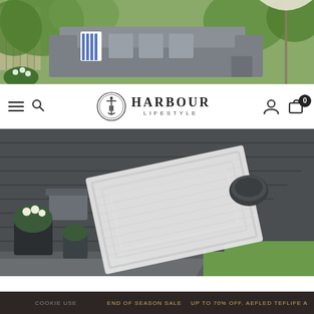[Figure (photo): Outdoor garden furniture scene with grey sectional sofa with striped blue and white cushions, wooden fence and greenery in background, cream/white umbrella on right side]
[Figure (logo): Harbour Lifestyle brand logo with circular nautical anchor emblem and text HARBOUR LIFESTYLE]
[Figure (photo): Grey composite decking with a white/silver rectangular braided outdoor rug placed on it, surrounded by garden lawn, potted white flowers and grey side table visible on the left]
END OF SEASON SALE
COOKIE USE UP TO 70% OFF. AEFLED TEFLIFE A